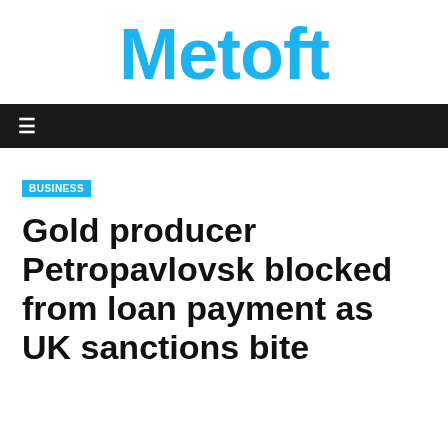Metoft
≡
BUSINESS
Gold producer Petropavlovsk blocked from loan payment as UK sanctions bite